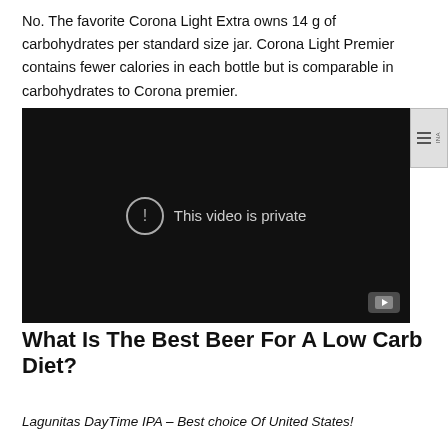No. The favorite Corona Light Extra owns 14 g of carbohydrates per standard size jar. Corona Light Premier contains fewer calories in each bottle but is comparable in carbohydrates to Corona premier.
[Figure (screenshot): Embedded video player showing 'This video is private' error message with exclamation icon on dark background. YouTube button visible in bottom-right corner.]
What Is The Best Beer For A Low Carb Diet?
Lagunitas DayTime IPA – Best choice Of United States!